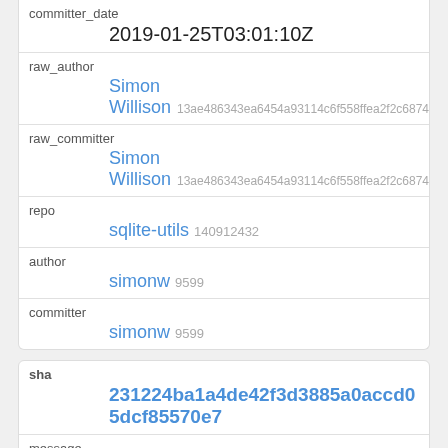| committer_date | 2019-01-25T03:01:10Z |
| raw_author | Simon
Willison 13ae486343ea6454a93114c6f558ffea2f2c6874 |
| raw_committer | Simon
Willison 13ae486343ea6454a93114c6f558ffea2f2c6874 |
| repo | sqlite-utils 140912432 |
| author | simonw 9599 |
| committer | simonw 9599 |
| sha | 231224ba1a4de42f3d3885a0accd05dcf85570e7 |
| message | Added vacuum to CLI and Python API |
| author_date |  |